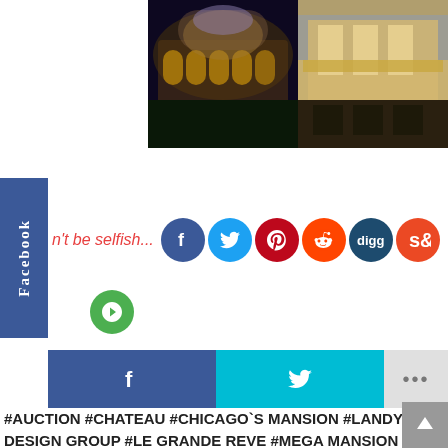[Figure (photo): Two luxury mansion/chateau photographs side by side. Left: illuminated chateau with arched colonnades at dusk with dark sky. Right: elegant white/cream mansion exterior lit at night with columns and balcony.]
Don't be selfish...
[Figure (infographic): Social sharing icons row: Facebook (blue circle), Twitter (cyan circle), Pinterest (red circle), Reddit (red-orange circle), Digg (dark blue circle), StumbleUpon (orange circle). Below: Facebook share button bar (dark blue), Twitter share button bar (cyan), More options (...) button (light gray). A green circle icon on the left side.]
#AUCTION  #CHATEAU  #CHICAGO`S MANSION  #LANDY DESIGN GROUP  #LE GRANDE REVE  #MEGA MANSION  #MOST EXPENSIVE  #SHERWIN JAROL  #THE BIG DREAM  #TIFFANY DOME